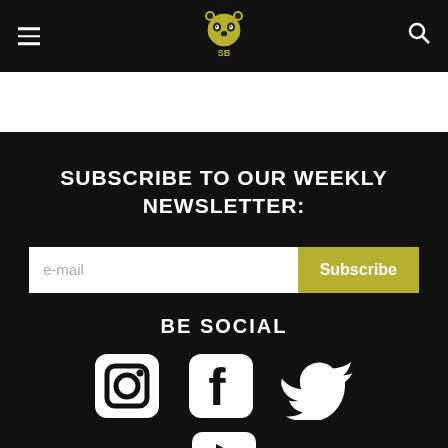[Figure (logo): Navigation header bar with hamburger menu icon on left, panda logo in center, search icon on right, dark background]
SUBSCRIBE TO OUR WEEKLY NEWSLETTER:
e-mail [input field] Subscribe [button]
BE SOCIAL
[Figure (infographic): Social media icons: Instagram, Facebook, Twitter in a row, then YouTube below]